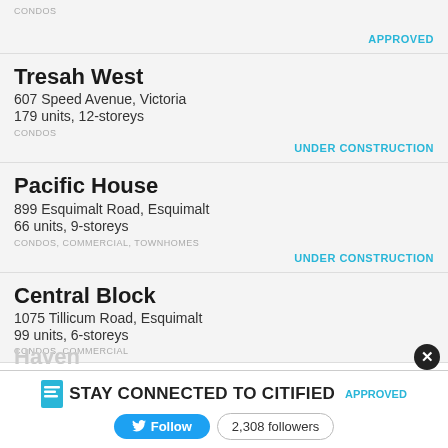CONDOS
APPROVED
Tresah West
607 Speed Avenue, Victoria
179 units, 12-storeys
CONDOS
UNDER CONSTRUCTION
Pacific House
899 Esquimalt Road, Esquimalt
66 units, 9-storeys
CONDOS, COMMERCIAL, TOWNHOMES
UNDER CONSTRUCTION
Central Block
1075 Tillicum Road, Esquimalt
99 units, 6-storeys
CONDOS, COMMERCIAL
STAY CONNECTED TO CITIFIED
APPROVED
Follow   2,308 followers
Haven